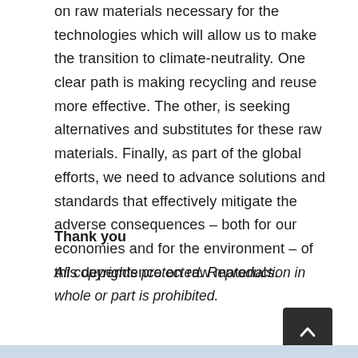on raw materials necessary for the technologies which will allow us to make the transition to climate-neutrality. One clear path is making recycling and reuse more effective. The other, is seeking alternatives and substitutes for these raw materials. Finally, as part of the global efforts, we need to advance solutions and standards that effectively mitigate the adverse consequences – both for our economies and for the environment – of this dependence on raw materials.
Thank you
All copyrights protected. Reproduction in whole or part is prohibited.